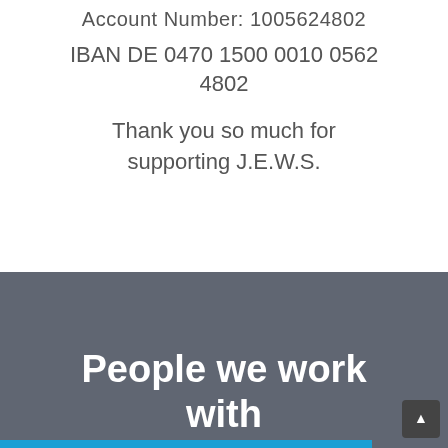Account Number: 1005624802
IBAN DE 0470 1500 0010 0562 4802
Thank you so much for supporting J.E.W.S.
People we work with